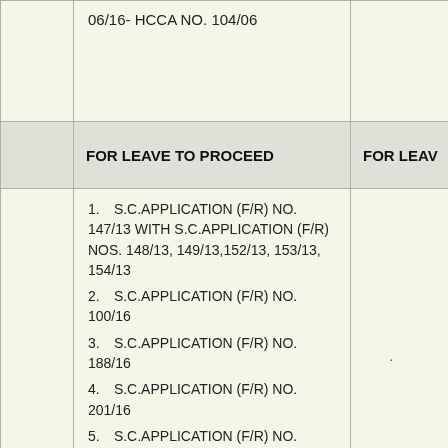|  | FOR LEAVE TO PROCEED | FOR LEAV |
| --- | --- | --- |
|  | 06/16- HCCA NO. 104/06 |  |
|  | FOR LEAVE TO PROCEED | FOR LEAV |
|  | 1. S.C.APPLICATION (F/R) NO. 147/13 WITH S.C.APPLICATION (F/R) NOS. 148/13, 149/13,152/13, 153/13, 154/13
2. S.C.APPLICATION (F/R) NO. 100/16
3. S.C.APPLICATION (F/R) NO. 188/16
4. S.C.APPLICATION (F/R) NO. 201/16
5. S.C.APPLICATION (F/R) NO. 218/16
6. S.C.APPLICATION (F/R) NO. 224/16 |  |